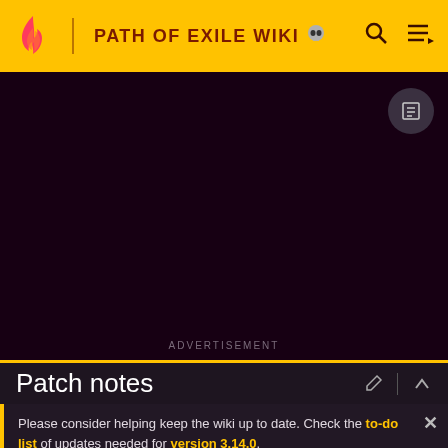PATH OF EXILE WIKI
ADVERTISEMENT
Patch notes
Please consider helping keep the wiki up to date. Check the to-do list of updates needed for version 3.14.0.
Game data exports will becoming later as the technical changes in addition to regular changes take some more time.